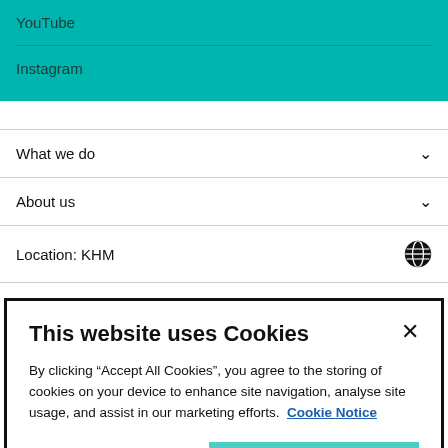YouTube
Instagram
What we do
About us
Location: KHM
This website uses Cookies
By clicking “Accept All Cookies”, you agree to the storing of cookies on your device to enhance site navigation, analyse site usage, and assist in our marketing efforts.  Cookie Notice
Cookie Settings
Accept All Cookies